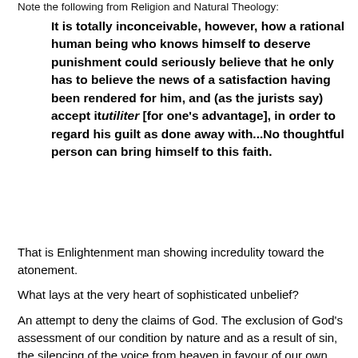Note the following from Religion and Natural Theology:
It is totally inconceivable, however, how a rational human being who knows himself to deserve punishment could seriously believe that he only has to believe the news of a satisfaction having been rendered for him, and (as the jurists say) accept it utiliter [for one's advantage], in order to regard his guilt as done away with...No thoughtful person can bring himself to this faith.
That is Enlightenment man showing incredulity toward the atonement.
What lays at the very heart of sophisticated unbelief?
An attempt to deny the claims of God.  The exclusion of God's assessment of our condition by nature and as a result of sin, the silencing of the voice from heaven in favour of our own meditations on our nature, identity and capacities.  The declaration that man and not the living God will have the final say as to what is right, true and good.